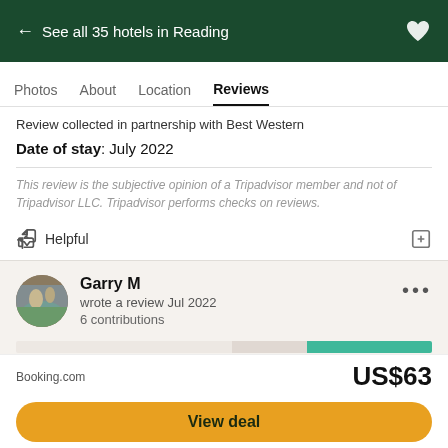← See all 35 hotels in Reading
Photos  About  Location  Reviews
Review collected in partnership with Best Western
Date of stay: July 2022
This review is the subjective opinion of a Tripadvisor member and not of Tripadvisor LLC. Tripadvisor performs checks on reviews.
Helpful
Garry M
wrote a review Jul 2022
6 contributions
Booking.com  US$63
View deal